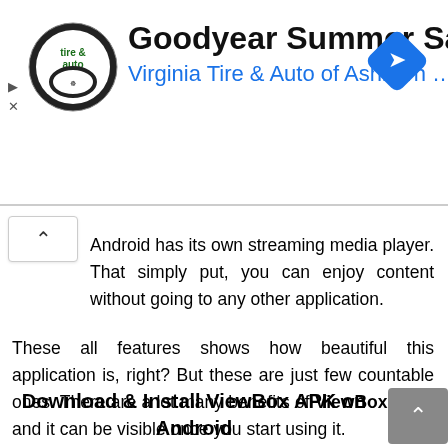[Figure (screenshot): Advertisement banner for Goodyear Summer Savings by Virginia Tire & Auto of Ashburn with logo and navigation icon]
Android has its own streaming media player. That simply put, you can enjoy content without going to any other application.
These all features shows how beautiful this application is, right? But these are just few countable ones. There are a lot many benefits of ViewBox APK, and it can be visible once you start using it.
Download & Install ViewBox APK on Android